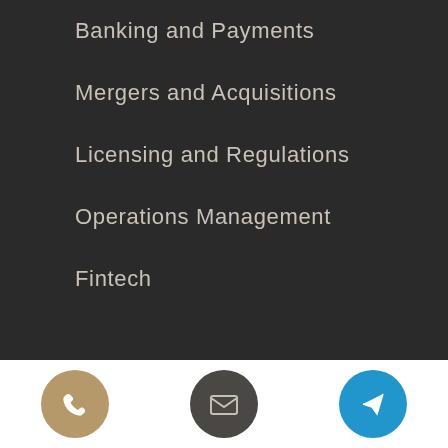Banking and Payments
Mergers and Acquisitions
Licensing and Regulations
Operations Management
Fintech
[Figure (illustration): Three circular icon buttons: a tan/gold phone icon, a dark grey envelope/email icon, and a blue paper plane/send icon, arranged horizontally in a white footer bar.]